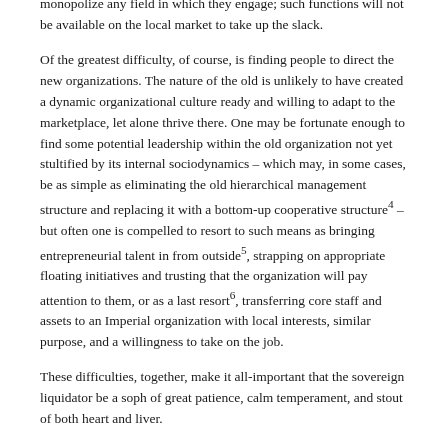monopolize any field in which they engage; such functions will not be available on the local market to take up the slack.
Of the greatest difficulty, of course, is finding people to direct the new organizations. The nature of the old is unlikely to have created a dynamic organizational culture ready and willing to adapt to the marketplace, let alone thrive there. One may be fortunate enough to find some potential leadership within the old organization not yet stultified by its internal sociodynamics – which may, in some cases, be as simple as eliminating the old hierarchical management structure and replacing it with a bottom-up cooperative structure⁴ – but often one is compelled to resort to such means as bringing entrepreneurial talent in from outside⁵, strapping on appropriate floating initiatives and trusting that the organization will pay attention to them, or as a last resort⁶, transferring core staff and assets to an Imperial organization with local interests, similar purpose, and a willingness to take on the job.
These difficulties, together, make it all-important that the sovereign liquidator be a soph of great patience, calm temperament, and stout of both heart and liver.